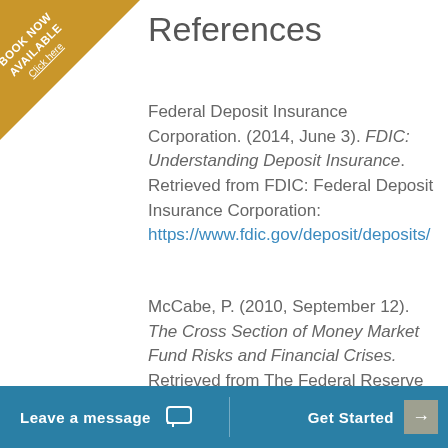References
Federal Deposit Insurance Corporation. (2014, June 3). FDIC: Understanding Deposit Insurance. Retrieved from FDIC: Federal Deposit Insurance Corporation: https://www.fdic.gov/deposit/deposits/
McCabe, P. (2010, September 12). The Cross Section of Money Market Fund Risks and Financial Crises. Retrieved from The Federal Reserve Board: http://www.federalreserve.gov/pubs/feds/2010/
Leave a message | Get Started